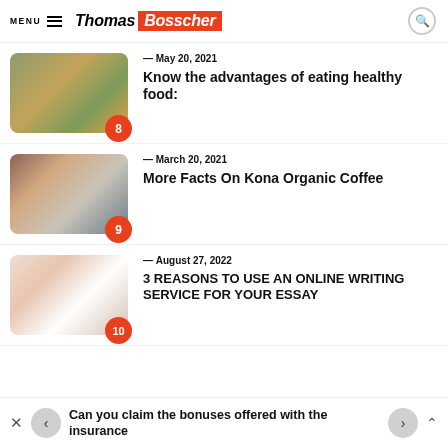MENU Thomas Bosscher
— May 20, 2021
Know the advantages of eating healthy food:
— March 20, 2021
More Facts On Kona Organic Coffee
— August 27, 2022
3 REASONS TO USE AN ONLINE WRITING SERVICE FOR YOUR ESSAY
Can you claim the bonuses offered with the insurance